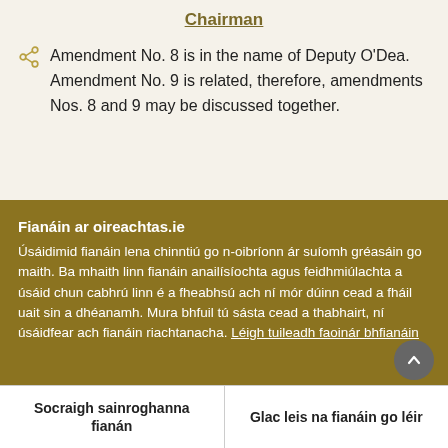Chairman
Amendment No. 8 is in the name of Deputy O'Dea. Amendment No. 9 is related, therefore, amendments Nos. 8 and 9 may be discussed together.
Fianáin ar oireachtas.ie
Úsáidimid fianáin lena chinntiú go n-oibríonn ár suíomh gréasáin go maith. Ba mhaith linn fianáin anailísíochta agus feidhmiúlachta a úsáid chun cabhrú linn é a fheabhsú ach ní mór dúinn cead a fháil uait sin a dhéanamh. Mura bhfuil tú sásta cead a thabhairt, ní úsáidfear ach fianáin riachtanacha. Léigh tuileadh faoinár bhfianáin
Socraigh sainroghanna fianán
Glac leis na fianáin go léir